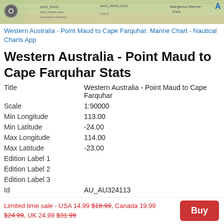[Figure (map): Nautical chart map banner showing coastal/marine area map of Western Australia]
Western Australia - Point Maud to Cape Farquhar: Marine Chart - Nautical Charts App
Western Australia - Point Maud to Cape Farquhar Stats
| Title | Western Australia - Point Maud to Cape Farquhar |
| Scale | 1:90000 |
| Min Longitude | 113.00 |
| Min Latitude | -24.00 |
| Max Longitude | 114.00 |
| Max Latitude | -23.00 |
| Edition Label 1 |  |
| Edition Label 2 |  |
| Edition Label 3 |  |
| Id | AU_AU324113 |
| Country | Australia |
| Projection | Mercator |
* some Stats may include nearby/connecting waterbodies
Nearby Tide Station Coral Bay
Distance from center: 33 km
Limited time sale - USA 14.99 $19.99, Canada 19.99 $24.99, UK 24.99 $31.99